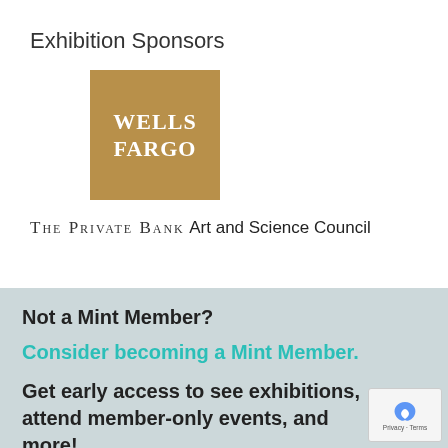Exhibition Sponsors
[Figure (logo): Wells Fargo logo — gold/tan square with white bold text 'WELLS FARGO']
The Private Bank
Art and Science Council
Not a Mint Member?
Consider becoming a Mint Member.
Get early access to see exhibitions, attend member-only events, and more!